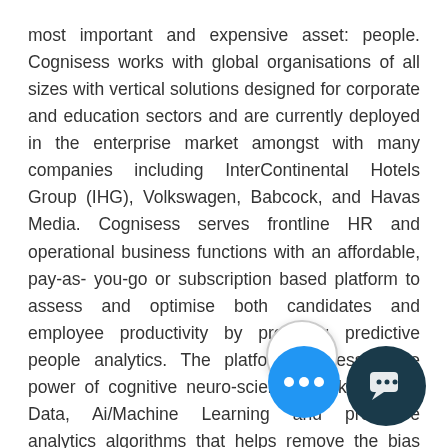most important and expensive asset: people. Cognisess works with global organisations of all sizes with vertical solutions designed for corporate and education sectors and are currently deployed in the enterprise market amongst with many companies including InterContinental Hotels Group (IHG), Volkswagen, Babcock, and Havas Media. Cognisess serves frontline HR and operational business functions with an affordable, pay-as- you-go or subscription based platform to assess and optimise both candidates and employee productivity by providing predictive people analytics. The platform harnesses the power of cognitive neuro-science, workforce Big Data, Ai/Machine Learning and predictive analytics algorithms that helps remove the bias and subjectivity around hiring, annual appraisals and organisational design allowing businesses to make better informed people decisions.